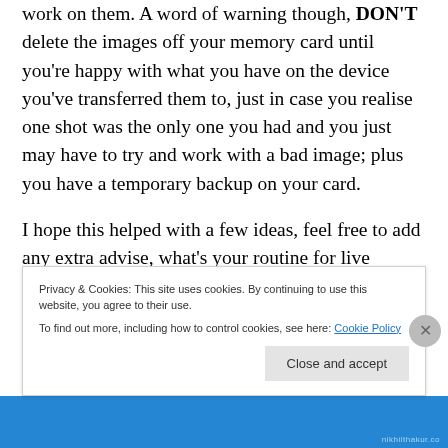work on them. A word of warning though, DON'T delete the images off your memory card until you're happy with what you have on the device you've transferred them to, just in case you realise one shot was the only one you had and you just may have to try and work with a bad image; plus you have a temporary backup on your card.
I hope this helped with a few ideas, feel free to add any extra advise, what's your routine for live
Privacy & Cookies: This site uses cookies. By continuing to use this website, you agree to their use.
To find out more, including how to control cookies, see here: Cookie Policy
Close and accept